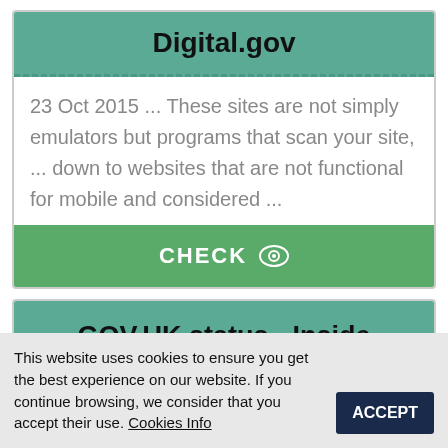Digital.gov
23 Oct 2015 ... These sites are not simply emulators but programs that scan your site, ... down to websites that are not functional for mobile and considered ...
CHECK
GOV.UK status - Inside GOV.UK - GOV.UK blogs
Inside GOV.UK. A blog about running and
This website uses cookies to ensure you get the best experience on our website. If you continue browsing, we consider that you accept their use. Cookies Info
ACCEPT